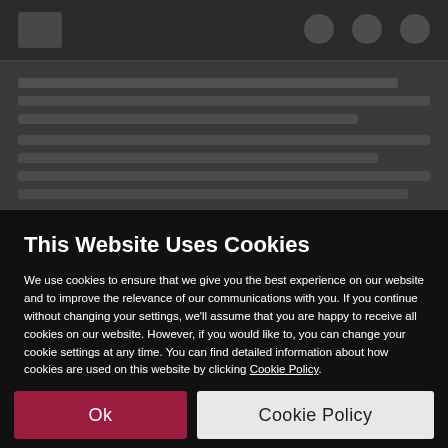[Figure (screenshot): Blurred/obscured website background showing a dark navigation bar with logo on the left and icons on the right, and blurred body text content below]
This Website Uses Cookies
We use cookies to ensure that we give you the best experience on our website and to improve the relevance of our communications with you. If you continue without changing your settings, we'll assume that you are happy to receive all cookies on our website. However, if you would like to, you can change your cookie settings at any time. You can find detailed information about how cookies are used on this website by clicking Cookie Policy.
Ok
Cookie Policy